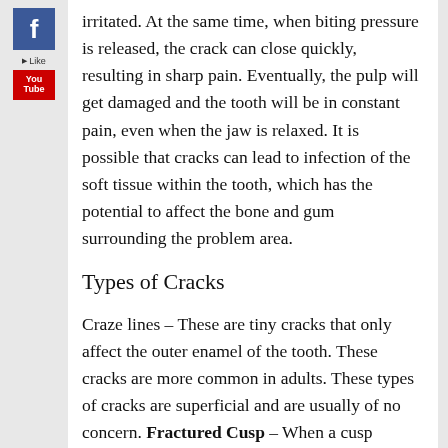[Figure (logo): Facebook logo icon (blue square with white F)]
[Figure (logo): Like button with cursor arrow icon]
[Figure (logo): YouTube logo icon (red rectangle with white text)]
irritated. At the same time, when biting pressure is released, the crack can close quickly, resulting in sharp pain. Eventually, the pulp will get damaged and the tooth will be in constant pain, even when the jaw is relaxed. It is possible that cracks can lead to infection of the soft tissue within the tooth, which has the potential to affect the bone and gum surrounding the problem area.
Types of Cracks
Craze lines – These are tiny cracks that only affect the outer enamel of the tooth. These cracks are more common in adults. These types of cracks are superficial and are usually of no concern. Fractured Cusp – When a cusp becomes weakened, a fracture may result. The cusp may break off or be removed by